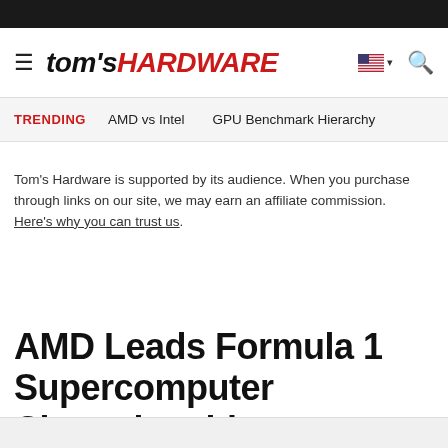tom's HARDWARE
TRENDING   AMD vs Intel   GPU Benchmark Hierarchy
Tom's Hardware is supported by its audience. When you purchase through links on our site, we may earn an affiliate commission. Here's why you can trust us.
AMD Leads Formula 1 Supercomputer Championship